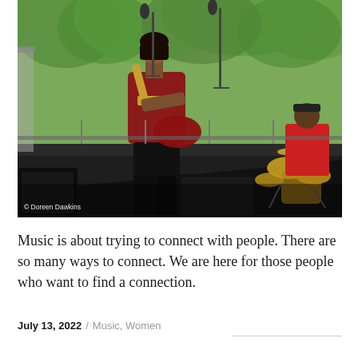[Figure (photo): Outdoor concert stage photo: a woman in a dark red top and black leather pants plays an electric guitar at a microphone stand. In the background, a drummer in a red shirt sits behind a drum kit. Green trees are visible in the background. A watermark reads '© Doreen Dawkins' in the lower left corner.]
Music is about trying to connect with people. There are so many ways to connect. We are here for those people who want to find a connection.
July 13, 2022 / Music, Women